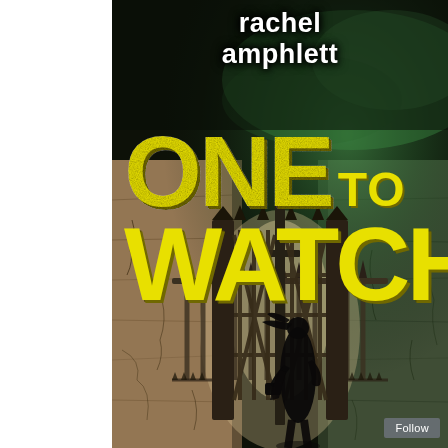[Figure (illustration): Book cover for 'One to Watch' by Rachel Amphlett. Dark background with cracked stone walls, iron cemetery/graveyard gates open in the center, a silhouetted female figure walking through the gates carrying a bag, green misty atmospheric lighting in the upper right, tan/beige cracked stone on the left. Author name 'rachel amphlett' in bold white text at the top. Title 'ONE TO WATCH' in large distressed yellow/yellow-green block capitals in the center. 'Follow' button in bottom right corner.]